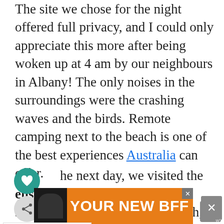The site we chose for the night offered full privacy, and I could only appreciate this more after being woken up at 4 am by our neighbours in Albany! The only noises in the surroundings were the crashing waves and the birds. Remote camping next to the beach is one of the best experiences Australia can offer.
On the next day, we visited the breathtaking Frenchens Beach. I usually don't like to spend a full day sitting on a beach, but this one would have reasons to keep me entertained all day long. But we didn't have much time to wander around, so we...
[Figure (screenshot): UI overlay with heart icon (teal circle), share icon (grey circle), scroll-to-top button (grey square with up arrow), WHAT'S NEXT bar with Tips for wearing a... and thumbnail, and an orange ad banner with dog image saying YOUR NEW BFF with close buttons]